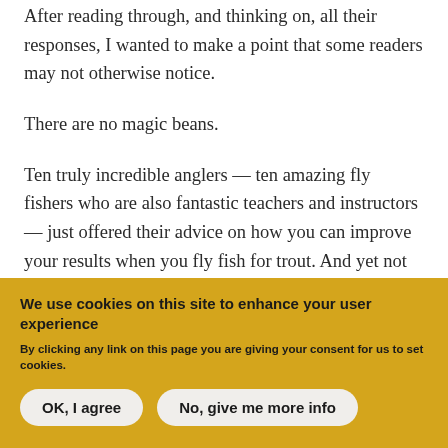After reading through, and thinking on, all their responses, I wanted to make a point that some readers may not otherwise notice.
There are no magic beans.
Ten truly incredible anglers — ten amazing fly fishers who are also fantastic teachers and instructors — just offered their advice on how you can improve your results when you fly fish for trout. And yet not one of
We use cookies on this site to enhance your user experience
By clicking any link on this page you are giving your consent for us to set cookies.
OK, I agree
No, give me more info